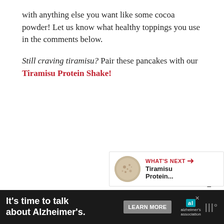with anything else you want like some cocoa powder! Let us know what healthy toppings you use in the comments below.
Still craving tiramisu? Pair these pancakes with our Tiramisu Protein Shake!
[Figure (illustration): Red circular heart button with count of 1, and a share button below it]
[Figure (illustration): What's Next panel with circular food image thumbnail and text 'Tiramisu Protein...']
[Figure (illustration): Advertisement banner: It's time to talk about Alzheimer's. Learn More button. Alzheimer's Association logo.]